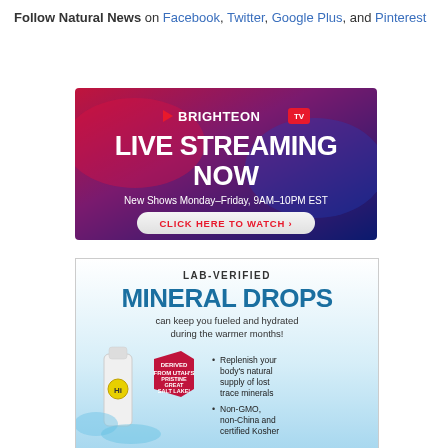Follow Natural News on Facebook, Twitter, Google Plus, and Pinterest
[Figure (infographic): Brighteon TV advertisement banner: Live Streaming Now, New Shows Monday–Friday, 9AM–10PM EST, Click Here to Watch]
[Figure (infographic): Lab-Verified Mineral Drops advertisement: can keep you fueled and hydrated during the warmer months. Derived from Utah's Pristine Great Salt Lake. Replenish your body's natural supply of lost trace minerals. Non-GMO, non-China and certified Kosher.]